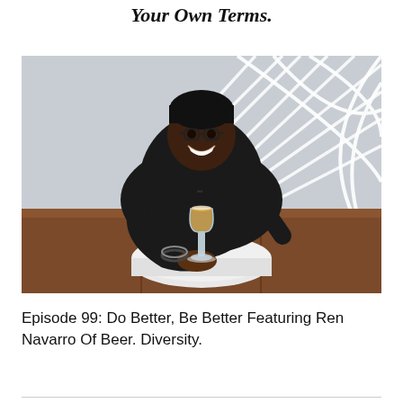Your Own Terms.
[Figure (photo): A smiling person wearing glasses and a black hoodie, sitting at a round white table with a glass of beer, in front of a light grey wall with white abstract line art. Brown leather bench seating visible in background.]
Episode 99: Do Better, Be Better Featuring Ren Navarro Of Beer. Diversity.